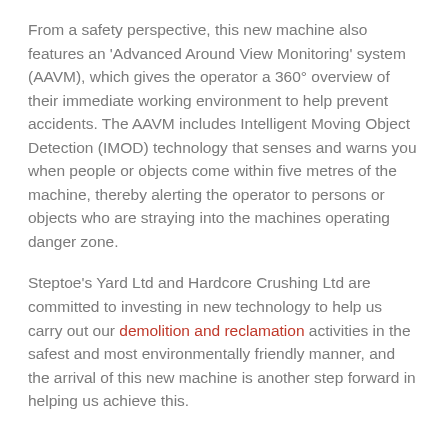From a safety perspective, this new machine also features an 'Advanced Around View Monitoring' system (AAVM), which gives the operator a 360° overview of their immediate working environment to help prevent accidents. The AAVM includes Intelligent Moving Object Detection (IMOD) technology that senses and warns you when people or objects come within five metres of the machine, thereby alerting the operator to persons or objects who are straying into the machines operating danger zone.
Steptoe's Yard Ltd and Hardcore Crushing Ltd are committed to investing in new technology to help us carry out our demolition and reclamation activities in the safest and most environmentally friendly manner, and the arrival of this new machine is another step forward in helping us achieve this.